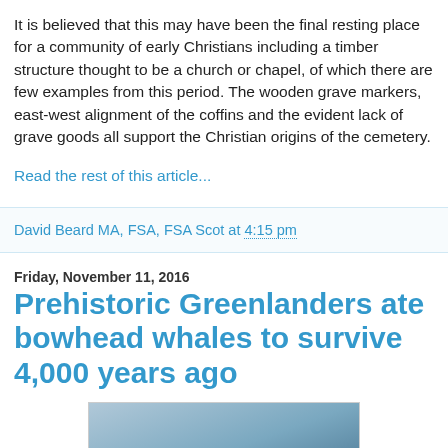It is believed that this may have been the final resting place for a community of early Christians including a timber structure thought to be a church or chapel, of which there are few examples from this period. The wooden grave markers, east-west alignment of the coffins and the evident lack of grave goods all support the Christian origins of the cemetery.
Read the rest of this article...
David Beard MA, FSA, FSA Scot at 4:15 pm
Friday, November 11, 2016
Prehistoric Greenlanders ate bowhead whales to survive 4,000 years ago
[Figure (photo): Aerial photograph of what appears to be a whale or large marine animal in dark ocean water, viewed from above.]